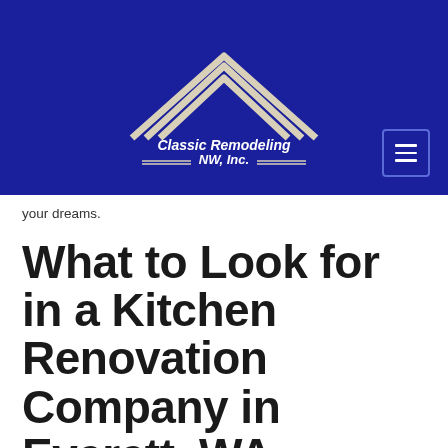[Figure (logo): Classic Remodeling NW, Inc. logo — white house/roof outline with triple chevron lines on dark blue background, company name in white italic bold text with decorative double lines]
your dreams.
What to Look for in a Kitchen Renovation Company in Everett, WA
A kitchen remodeling company can give you feedback and input on current home trends, features, and finishes. Classic